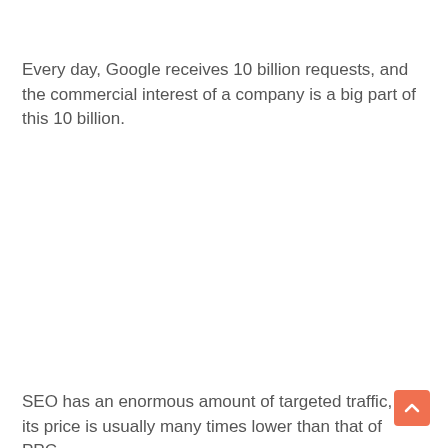Every day, Google receives 10 billion requests, and the commercial interest of a company is a big part of this 10 billion.
SEO has an enormous amount of targeted traffic, and its price is usually many times lower than that of PPC.